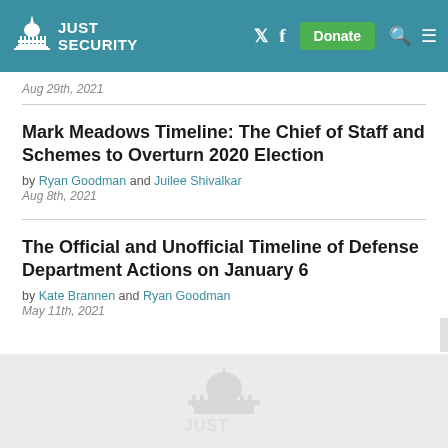JUST SECURITY
Aug 29th, 2021
Mark Meadows Timeline: The Chief of Staff and Schemes to Overturn 2020 Election
by Ryan Goodman and Juilee Shivalkar
Aug 8th, 2021
The Official and Unofficial Timeline of Defense Department Actions on January 6
by Kate Brannen and Ryan Goodman
May 11th, 2021
JUST SECURITY